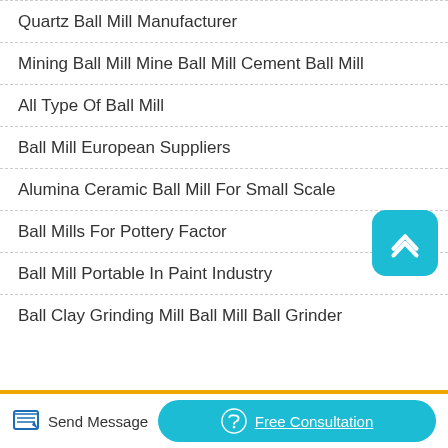Quartz Ball Mill Manufacturer
Mining Ball Mill Mine Ball Mill Cement Ball Mill
All Type Of Ball Mill
Ball Mill European Suppliers
Alumina Ceramic Ball Mill For Small Scale
Ball Mills For Pottery Factor
Ball Mill Portable In Paint Industry
Ball Clay Grinding Mill Ball Mill Ball Grinder